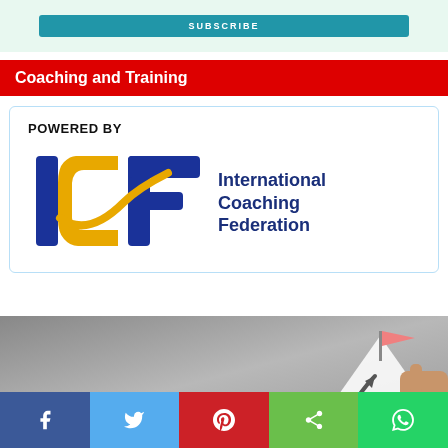[Figure (screenshot): Top partial area showing a teal/green button partially visible at top of page]
Coaching and Training
[Figure (logo): ICF - International Coaching Federation logo with blue I, yellow C, and blue F letters, with text 'International Coaching Federation' to the right. Preceded by 'POWERED BY' text.]
[Figure (photo): Photo of a hand placing or touching a red/pink flag on top of a mountain/peak shape drawn on a grey background, with an arrow at the base of the mountain]
[Figure (infographic): Social media share bar at bottom with Facebook (blue), Twitter (light blue), Pinterest (red), Share (green), and WhatsApp (green) buttons]